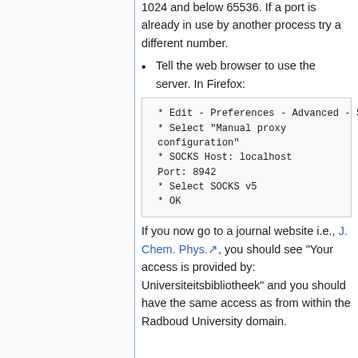1024 and below 65536. If a port is already in use by another process try a different number.
Tell the web browser to use the server. In Firefox:
* Edit - Preferences - Advanced - Settings
 * Select "Manual proxy configuration"
 * SOCKS Host: localhost Port: 8942
 * Select SOCKS v5
 * OK
If you now go to a journal website i.e., J. Chem. Phys., you should see "Your access is provided by: Universiteitsbibliotheek" and you should have the same access as from within the Radboud University domain.